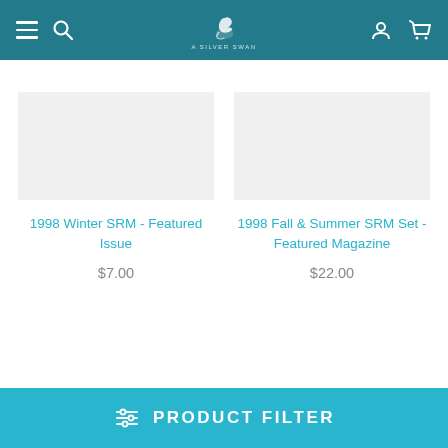Navigation bar with menu, search, logo, user, and cart icons
1998 Winter SRM - Featured Issue
$7.00
1998 Fall & Summer SRM Set - Featured Magazine
$22.00
PRODUCT FILTER